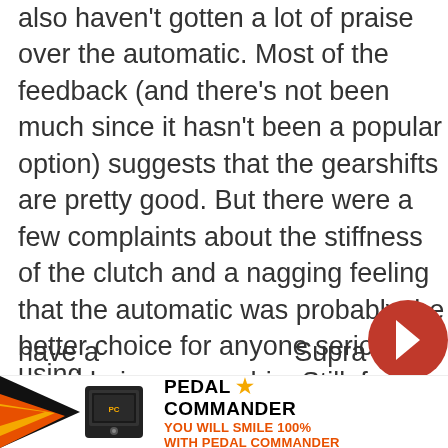also haven't gotten a lot of praise over the automatic. Most of the feedback (and there's not been much since it hasn't been a popular option) suggests that the gearshifts are pretty good. But there were a few complaints about the stiffness of the clutch and a nagging feeling that the automatic was probably the better choice for anyone seriously considering ownership. Still, for those seeking maximum engagement, there really isn't any other opt other than going for the third pedal and putting in a little work. But it might not have been good enough for Toyota, which would have a ... Supra using
[Figure (other): Red circular navigation arrow button pointing right, overlaid on right edge of page]
[Figure (other): Advertisement banner for Pedal Commander device. Shows orange/black graphic with device image, brand logo 'PEDAL COMMANDER' with star, tagline 'YOU WILL SMILE 100% WITH PEDAL COMMANDER' in orange.]